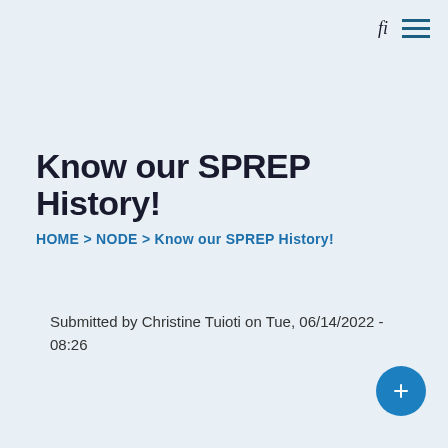fi ☰
Know our SPREP History!
HOME > NODE > Know our SPREP History!
Submitted by Christine Tuioti on Tue, 06/14/2022 - 08:26